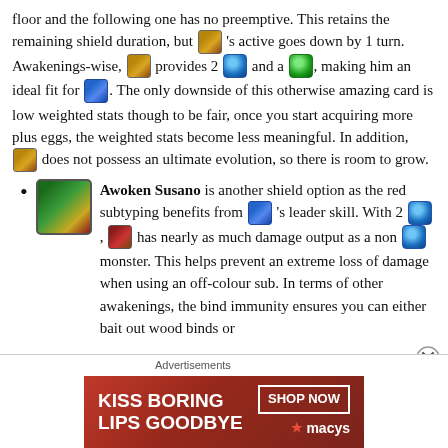floor and the following one has no preemptive. This retains the remaining shield duration, but [icon]'s active goes down by 1 turn. Awakenings-wise, [icon] provides 2 [water-orb] and a [green-orb], making him an ideal fit for [icon]. The only downside of this otherwise amazing card is low weighted stats though to be fair, once you start acquiring more plus eggs, the weighted stats become less meaningful. In addition, [icon] does not possess an ultimate evolution, so there is room to grow.
Awoken Susano is another shield option as the red subtyping benefits from [icon]'s leader skill. With 2 [water-orb], [icon] has nearly as much damage output as a non [water-orb] monster. This helps prevent an extreme loss of damage when using an off-colour sub. In terms of other awakenings, the bind immunity ensures you can either bait out wood binds or
[Figure (other): Advertisement banner: KISS BORING LIPS GOODBYE - SHOP NOW - macys]